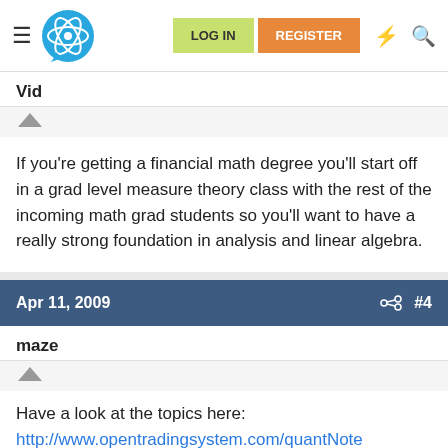[Figure (screenshot): Forum navigation bar with hamburger menu, atom/brain logo, LOG IN button (green), REGISTER button (orange), lightning bolt icon, and search icon]
Vid
If you're getting a financial math degree you'll start off in a grad level measure theory class with the rest of the incoming math grad students so you'll want to have a really strong foundation in analysis and linear algebra.
Apr 11, 2009  #4
maze
Have a look at the topics here:
http://www.opentradingsystem.com/quantNote